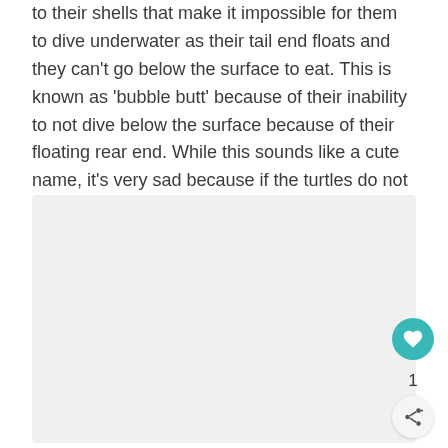to their shells that make it impossible for them to dive underwater as their tail end floats and they can't go below the surface to eat. This is known as 'bubble butt' because of their inability to not dive below the surface because of their floating rear end. While this sounds like a cute name, it's very sad because if the turtles do not seek medical help they can't get their food.
[Figure (photo): A light gray placeholder image area representing a photo, with a heart/like button (teal circle with heart icon), a count of 1, and a share button below it on the right side.]